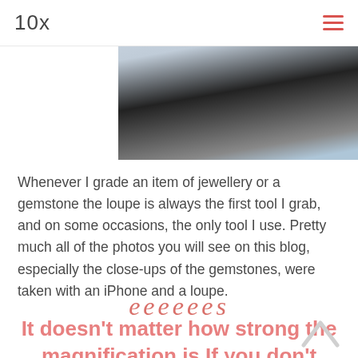10x
[Figure (photo): Close-up photo of what appears to be a metal or glass object at an angle against a blue sky background, partially visible in the upper right portion of the page]
Whenever I grade an item of jewellery or a gemstone the loupe is always the first tool I grab, and on some occasions, the only tool I use. Pretty much all of the photos you will see on this blog, especially the close-ups of the gemstones, were taken with an iPhone and a loupe.
[Figure (illustration): Decorative cursive divider element in pink/rose color]
It doesn't matter how strong the magnification is If you don't know what